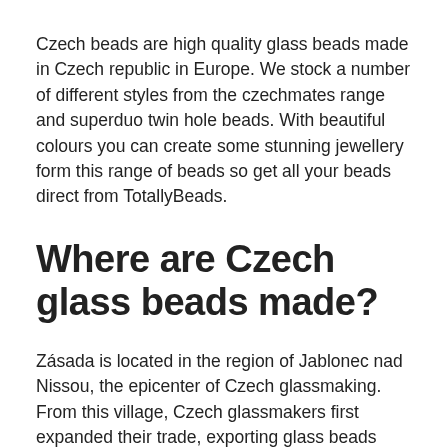Czech beads are high quality glass beads made in Czech republic in Europe. We stock a number of different styles from the czechmates range and superduo twin hole beads. With beautiful colours you can create some stunning jewellery form this range of beads so get all your beads direct from TotallyBeads.
Where are Czech glass beads made?
Zásada is located in the region of Jablonec nad Nissou, the epicenter of Czech glassmaking. From this village, Czech glassmakers first expanded their trade, exporting glass beads around the world